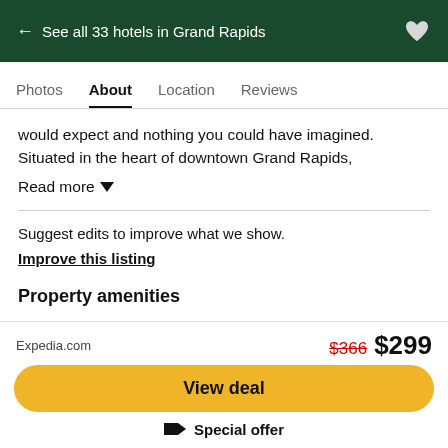← See all 33 hotels in Grand Rapids
Photos | About | Location | Reviews
would expect and nothing you could have imagined. Situated in the heart of downtown Grand Rapids,
Read more
Suggest edits to improve what we show.
Improve this listing
Property amenities
Valet parking
Free High Speed Internet (WiFi)
Expedia.com  $366  $299
View deal
Special offer